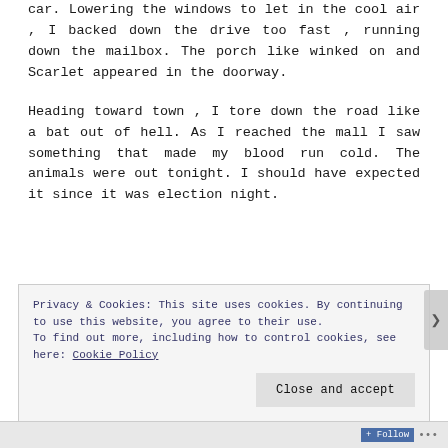car. Lowering the windows to let in the cool air , I backed down the drive too fast , running down the mailbox. The porch like winked on and Scarlet appeared in the doorway.
Heading toward town , I tore down the road like a bat out of hell. As I reached the mall I saw something that made my blood run cold. The animals were out tonight. I should have expected it since it was election night.
Privacy & Cookies: This site uses cookies. By continuing to use this website, you agree to their use.
To find out more, including how to control cookies, see here: Cookie Policy
Close and accept
Follow ...